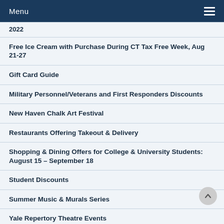Menu
2022
Free Ice Cream with Purchase During CT Tax Free Week, Aug 21-27
Gift Card Guide
Military Personnel/Veterans and First Responders Discounts
New Haven Chalk Art Festival
Restaurants Offering Takeout & Delivery
Shopping & Dining Offers for College & University Students: August 15 – September 18
Student Discounts
Summer Music & Murals Series
Yale Repertory Theatre Events
Yale Staff Discounts